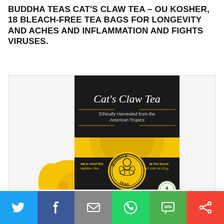BUDDHA TEAS CAT'S CLAW TEA – OU KOSHER, 18 BLEACH-FREE TEA BAGS FOR LONGEVITY AND ACHES AND INFLAMMATION AND FIGHTS VIRUSES.
[Figure (photo): Buddha Teas Cat's Claw Tea product box — black and yellow packaging with 'Cat's Claw Tea' text, 'Ethically Harvested from the American Tropics' tagline, Buddha Teas logo circle, yellow flower decoration, wild-crafted herbal tea label, 18 tea bags / net wt 0.95 oz (27g), and a Wild Crafted certification seal.]